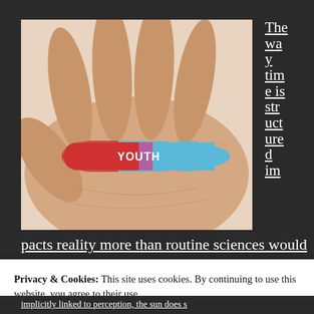[Figure (photo): A hand holding a red and blue capsule pill with the word YOUTH written in white text on it, against a white background.]
The way time is structured impacted reality more than routine sciences would
Privacy & Cookies: This site uses cookies. By continuing to use this website, you agree to their use.
To find out more, including how to control cookies, see here: Cookie Policy
Close and accept
implicitly linked to perception, the sun does s